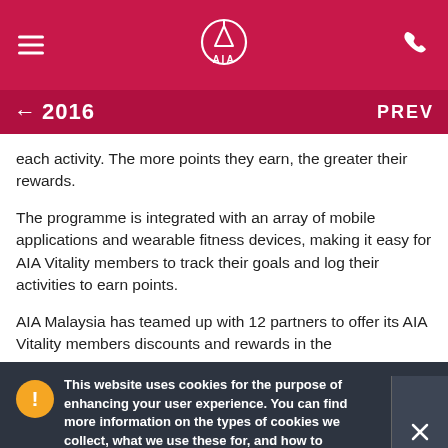AIA navigation bar with logo
← 2016   PREV
each activity. The more points they earn, the greater their rewards.
The programme is integrated with an array of mobile applications and wearable fitness devices, making it easy for AIA Vitality members to track their goals and log their activities to earn points.
AIA Malaysia has teamed up with 12 partners to offer its AIA Vitality members discounts and rewards in the
This website uses cookies for the purpose of enhancing your user experience. You can find more information on the types of cookies we collect, what we use these for, and how to manage your cookie settings in our Cookies Policy and Privacy Statement.
their AIA Vitality status, when engaging with the